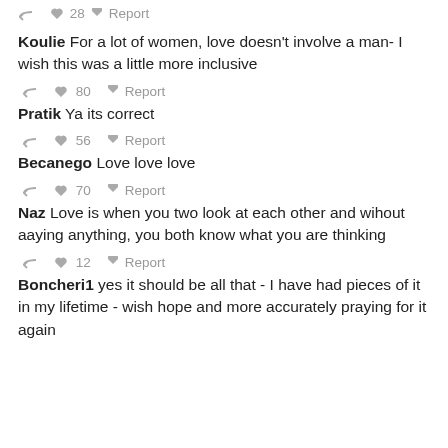28  Report
Koulie For a lot of women, love doesn't involve a man- I wish this was a little more inclusive
80  Report
Pratik Ya its correct
56  Report
Becanego Love love love
70  Report
Naz Love is when you two look at each other and wihout aaying anything, you both know what you are thinking
12  Report
Boncheri1 yes it should be all that - I have had pieces of it in my lifetime - wish hope and more accurately praying for it again